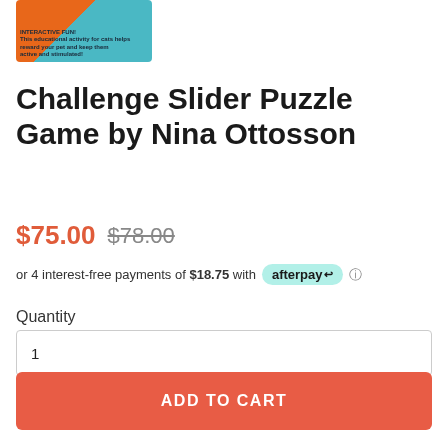[Figure (photo): Product image of Challenge Slider Puzzle Game showing orange puzzle tray with text 'INTERACTIVE FUN!' on packaging]
Challenge Slider Puzzle Game by Nina Ottosson
$75.00  $78.00
or 4 interest-free payments of $18.75 with afterpay
Quantity
1
ADD TO CART